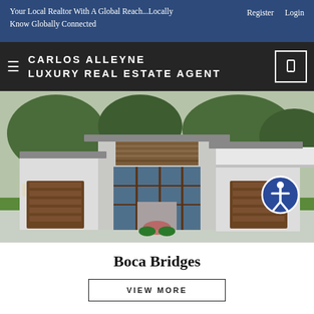Your Local Realtor With A Global Reach...Locally Know Globally Connected    Register  Login
CARLOS ALLEYNE LUXURY REAL ESTATE AGENT
[Figure (photo): Exterior photo of a modern luxury home with two brown wooden garage doors, large glass facade, white stucco walls, and landscaping. Accessibility icon (person in a circle) visible in the bottom right of the image.]
Boca Bridges
VIEW MORE